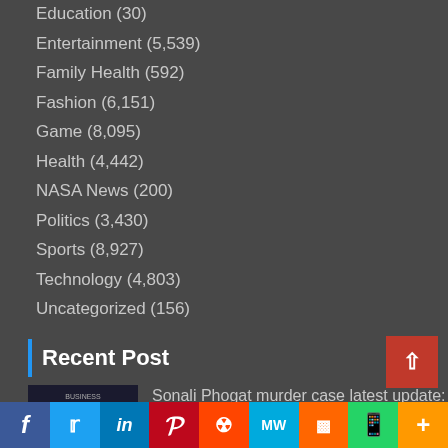Education (30)
Entertainment (5,539)
Family Health (592)
Fashion (6,151)
Game (8,095)
Health (4,442)
NASA News (200)
Politics (3,430)
Sports (8,927)
Technology (4,803)
Uncategorized (156)
Recent Post
Sonali Phogat murder case latest update: Police say she was given methamphetamine at party in Goa
f  Twitter  in  P  Reddit  MW  Mix  WhatsApp  +